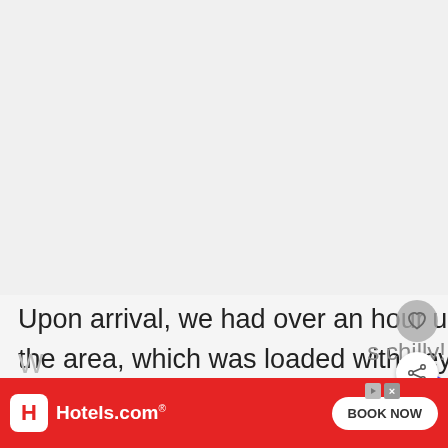[Figure (photo): Blank/placeholder upper image area of a travel blog page]
Upon arrival, we had over an hour until the next eruption, so we explored the area, which was loaded with geysers and thermal holes. nearing 6PM at this point and the sun was setting.
[Figure (other): WHAT'S NEXT arrow label with thumbnail of Middle Eastern food content]
[Figure (other): Hotels.com advertisement banner with BOOK NOW button]